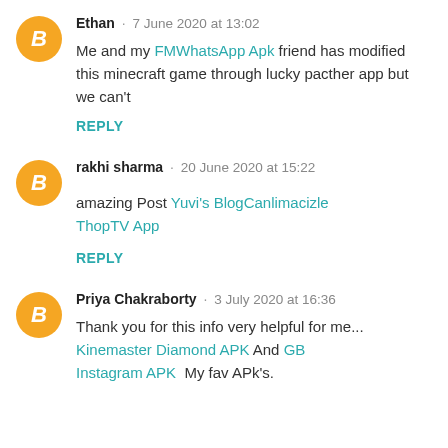Ethan · 7 June 2020 at 13:02
Me and my FMWhatsApp Apk friend has modified this minecraft game through lucky pacther app but we can't
REPLY
rakhi sharma · 20 June 2020 at 15:22
amazing Post Yuvi's BlogCanlimacizle ThopTV App
REPLY
Priya Chakraborty · 3 July 2020 at 16:36
Thank you for this info very helpful for me... Kinemaster Diamond APK And GB Instagram APK  My fav APk's.